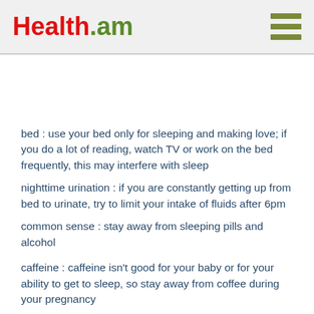Health.am
bed : use your bed only for sleeping and making love; if you do a lot of reading, watch TV or work on the bed frequently, this may interfere with sleep
nighttime urination : if you are constantly getting up from bed to urinate, try to limit your intake of fluids after 6pm
common sense : stay away from sleeping pills and alcohol
caffeine : caffeine isn’t good for your baby or for your ability to get to sleep, so stay away from coffee during your pregnancy